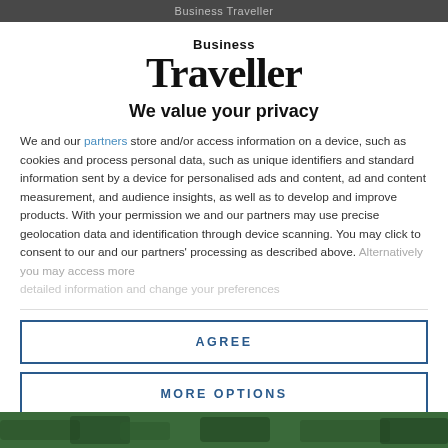Business Traveller
[Figure (logo): Business Traveller logo with 'Business' in small text above 'Traveller' in large serif bold font]
We value your privacy
We and our partners store and/or access information on a device, such as cookies and process personal data, such as unique identifiers and standard information sent by a device for personalised ads and content, ad and content measurement, and audience insights, as well as to develop and improve products. With your permission we and our partners may use precise geolocation data and identification through device scanning. You may click to consent to our and our partners' processing as described above. Alternatively you may access more detailed information and change your preferences
AGREE
MORE OPTIONS